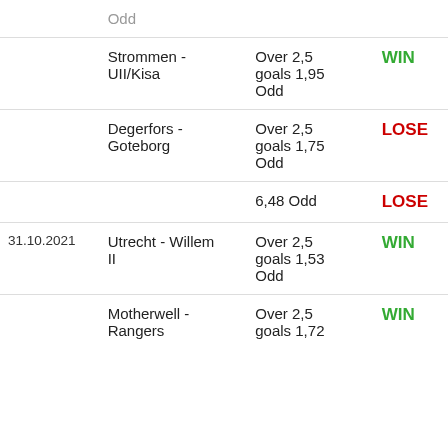| Date | Match | Bet | Result |
| --- | --- | --- | --- |
|  | Strommen - UII/Kisa | Over 2,5 goals 1,95 Odd | WIN |
|  | Degerfors - Goteborg | Over 2,5 goals 1,75 Odd | LOSE |
|  |  | 6,48 Odd | LOSE |
| 31.10.2021 | Utrecht - Willem II | Over 2,5 goals 1,53 Odd | WIN |
|  | Motherwell - Rangers | Over 2,5 goals 1,72 | WIN |